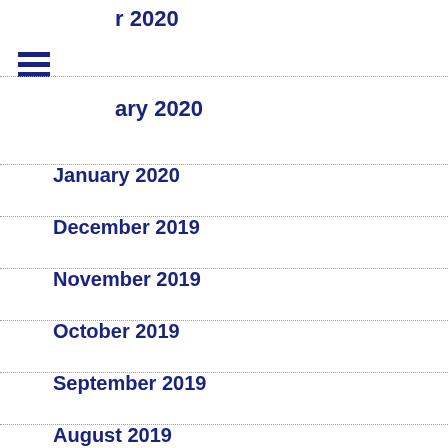r 2020
ary 2020
January 2020
December 2019
November 2019
October 2019
September 2019
August 2019
July 2019
June 2019
May 2019
April 2019